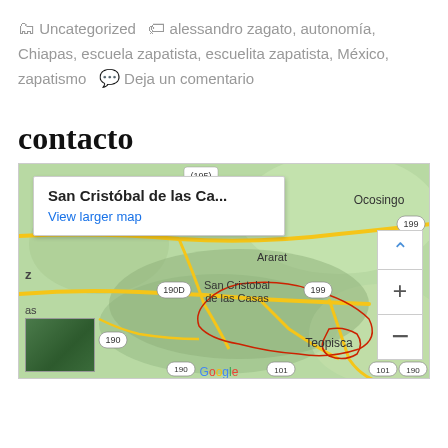🗂 Uncategorized  🏷 alessandro zagato, autonomía, Chiapas, escuela zapatista, escuelita zapatista, México, zapatismo  💬 Deja un comentario
contacto
[Figure (map): Google Map showing San Cristóbal de las Casas area in Chiapas, Mexico, with surrounding towns Ocosingo, Ararat, Teopisca, and road numbers 195, 199, 190D, 190, 101 visible. A popup shows 'San Cristóbal de las Ca...' with 'View larger map' link.]